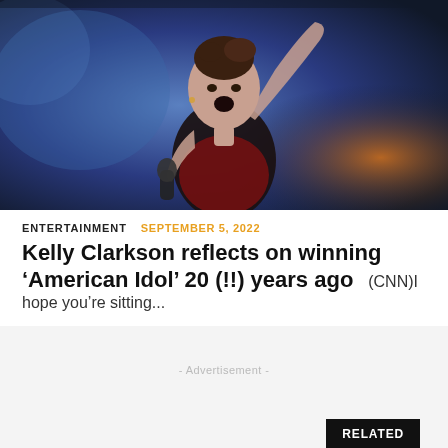[Figure (photo): A woman singing passionately on stage, holding a microphone, wearing a black outfit, with one arm raised, performing under blue and warm stage lighting.]
ENTERTAINMENT   SEPTEMBER 5, 2022
Kelly Clarkson reflects on winning ‘American Idol’ 20 (!!) years ago   (CNN)I hope you’re sitting...
- Advertisement -
RELATED
You might also like
Recommended to you